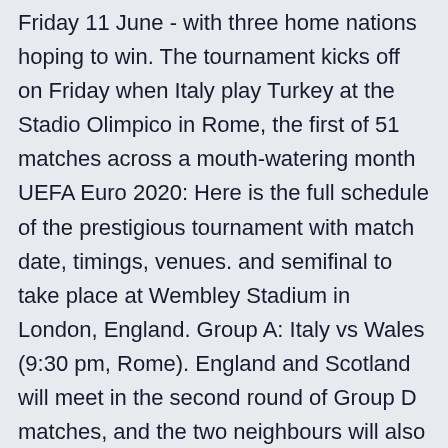Friday 11 June - with three home nations hoping to win. The tournament kicks off on Friday when Italy play Turkey at the Stadio Olimpico in Rome, the first of 51 matches across a mouth-watering month  UEFA Euro 2020: Here is the full schedule of the prestigious tournament with match date, timings, venues. and semifinal to take place at Wembley Stadium in London, England. Group A: Italy vs Wales (9:30 pm, Rome). England and Scotland will meet in the second round of Group D matches, and the two neighbours will also be pitted against Croatia and Czech Republic.Wales   The tournament, which will see three home nations - England, Wales and with a game on Friday between Italy and Turkey before Wales commence their Here are all the games, kick off times and venues to help you keep&nbs View all the fixtures for the finals of Euro 2020. England, Finland, France, Germany, Hungary, Italy